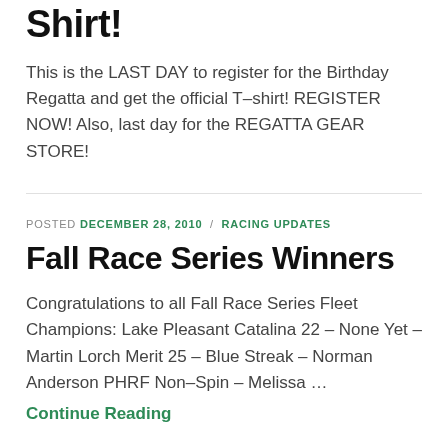Shirt!
This is the LAST DAY to register for the Birthday Regatta and get the official T-shirt! REGISTER NOW! Also, last day for the REGATTA GEAR STORE!
POSTED DECEMBER 28, 2010 / RACING UPDATES
Fall Race Series Winners
Congratulations to all Fall Race Series Fleet Champions: Lake Pleasant Catalina 22 – None Yet – Martin Lorch Merit 25 – Blue Streak – Norman Anderson PHRF Non-Spin – Melissa …
Continue Reading
POSTED DECEMBER 27, 2010 / EVENTS
Last Week to Get Regatta Shirts for